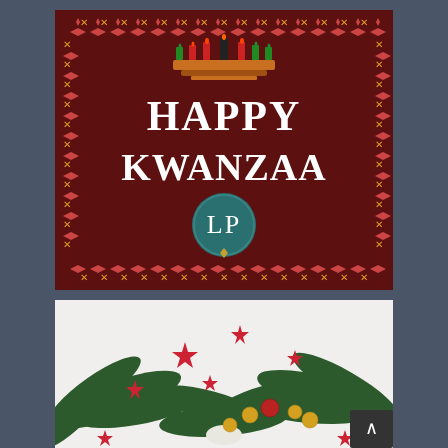[Figure (illustration): Kwanzaa greeting card with dark red/maroon background, decorative African-style border in red, gold and yellow cross/diamond patterns, a kinara (candle holder) with 7 candles at top, text 'HAPPY KWANZAA' in white serif font, and a teal circular LP logo with diamond at bottom center.]
[Figure (photo): Christmas decoration photo showing pine/fir branches, red star ornaments, gold and red ball ornaments on a white background. A dark scroll-to-top button is visible in the bottom right corner.]